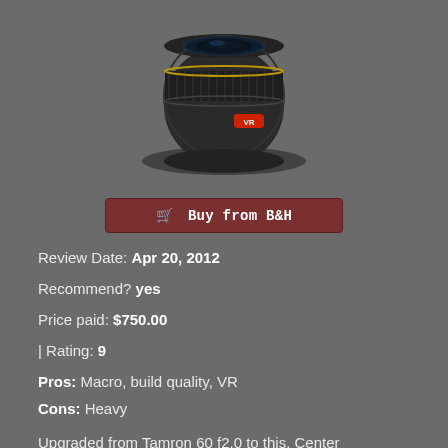[Figure (photo): Black Nikon macro lens (105mm VR), front-top view on gray background]
Buy from B&H
Review Date: Apr 20, 2012
Recommend? yes
Price paid: $750.00
| Rating: 9
Pros: Macro, build quality, VR
Cons: Heavy
Upgraded from Tamron 60 f2.0 to this. Center sharpness is comprable to the Tamron but the edges are like night and day, the Nikon wins hands down. The VR on this lens seems even better